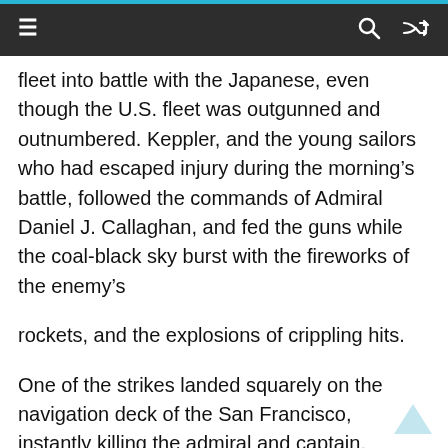≡  🔍  ⇌
fleet into battle with the Japanese, even though the U.S. fleet was outgunned and outnumbered. Keppler, and the young sailors who had escaped injury during the morning's battle, followed the commands of Admiral Daniel J. Callaghan, and fed the guns while the coal-black sky burst with the fireworks of the enemy's
rockets, and the explosions of crippling hits.
One of the strikes landed squarely on the navigation deck of the San Francisco, instantly killing the admiral and captain. Another ripped through the hangar, killing and maiming dozens of Keppler's shipmates, and slicing the steel vessel into flying, shredding shards. The hangar erupted, and the fire spread like a cancer through the body